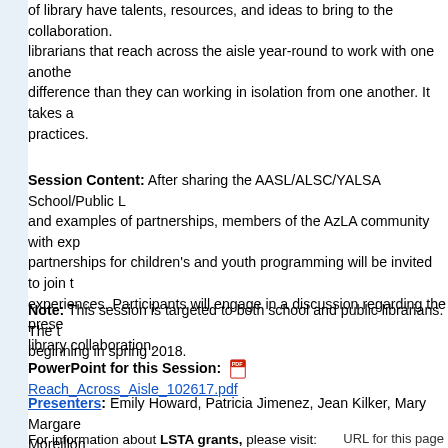of library have talents, resources, and ideas to bring to the collaboration. librarians that reach across the aisle year-round to work with one another difference than they can working in isolation from one another. It takes a practices.
Session Content: After sharing the AASL/ALSC/YALSA School/Public L and examples of partnerships, members of the AzLA community with exp partnerships for children's and youth programming will be invited to join t experiences. Participants will engage in a discussion regarding the prese library collaboration.
Note: This session is targeted to both school and public librarians. The t beginning in spring 2018.
PowerPoint for this Session: [PDF icon] Reach_Across_Aisle_102617.pdf
Presenters: Emily Howard, Patricia Jimenez, Jean Kilker, Mary Margare Moreillon
For information about LSTA grants, please visit: https://www.azlibrary.gov
URL for this page